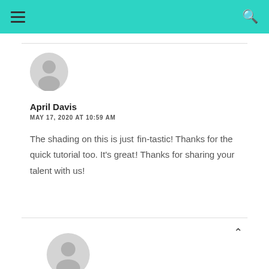[Figure (illustration): User avatar placeholder icon (gray circle with person silhouette)]
April Davis
MAY 17, 2020 AT 10:59 AM
The shading on this is just fin-tastic! Thanks for the quick tutorial too. It’s great! Thanks for sharing your talent with us!
[Figure (illustration): User avatar placeholder icon (gray circle with person silhouette) at bottom]